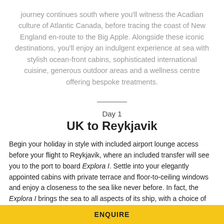journey continues south where you'll witness the Acadian culture of Atlantic Canada, before tracing the coast of New England en-route to the Big Apple. Alongside these iconic destinations, you'll enjoy an indulgent experience at sea with stylish ocean-front cabins, sophisticated international cuisine, generous outdoor areas and a wellness centre offering bespoke treatments.
Day 1
UK to Reykjavik
Begin your holiday in style with included airport lounge access before your flight to Reykjavik, where an included transfer will see you to the port to board Explora I. Settle into your elegantly appointed cabins with private terrace and floor-to-ceiling windows and enjoy a closeness to the sea like never before. In fact, the Explora I brings the sea to all aspects of its ship, with a choice of outdoor bar and [ENQUIRE] de and multiple